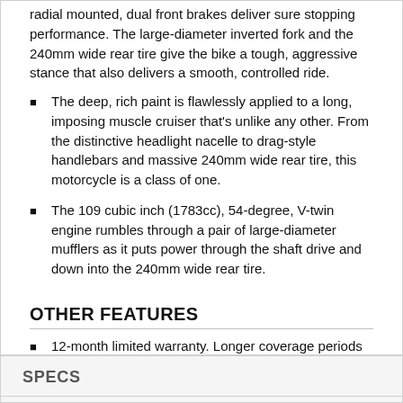radial mounted, dual front brakes deliver sure stopping performance. The large-diameter inverted fork and the 240mm wide rear tire give the bike a tough, aggressive stance that also delivers a smooth, controlled ride.
The deep, rich paint is flawlessly applied to a long, imposing muscle cruiser that's unlike any other. From the distinctive headlight nacelle to drag-style handlebars and massive 240mm wide rear tire, this motorcycle is a class of one.
The 109 cubic inch (1783cc), 54-degree, V-twin engine rumbles through a pair of large-diameter mufflers as it puts power through the shaft drive and down into the 240mm wide rear tire.
OTHER FEATURES
12-month limited warranty. Longer coverage periods with other benefits available through Suzuki Extended Protection (SEP).
SPECS